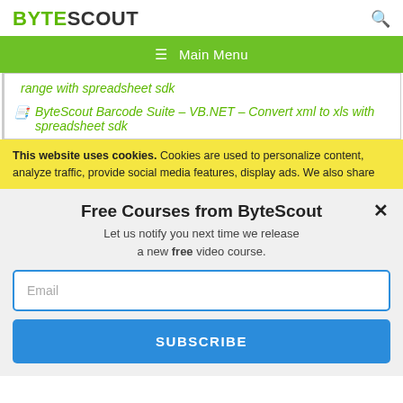BYTESCOUT
≡  Main Menu
range with spreadsheet sdk
ByteScout Barcode Suite – VB.NET – Convert xml to xls with spreadsheet sdk
This website uses cookies. Cookies are used to personalize content, analyze traffic, provide social media features, display ads. We also share
Free Courses from ByteScout
Let us notify you next time we release a new free video course.
Email
SUBSCRIBE